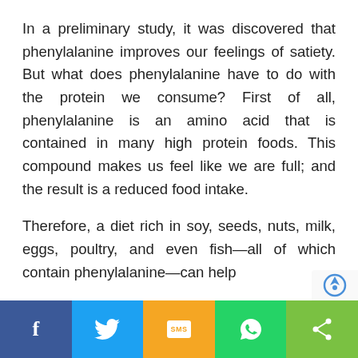In a preliminary study, it was discovered that phenylalanine improves our feelings of satiety. But what does phenylalanine have to do with the protein we consume? First of all, phenylalanine is an amino acid that is contained in many high protein foods. This compound makes us feel like we are full; and the result is a reduced food intake.
Therefore, a diet rich in soy, seeds, nuts, milk, eggs, poultry, and even fish—all of which contain phenylalanine—can help
Facebook | Twitter | SMS | WhatsApp | Share